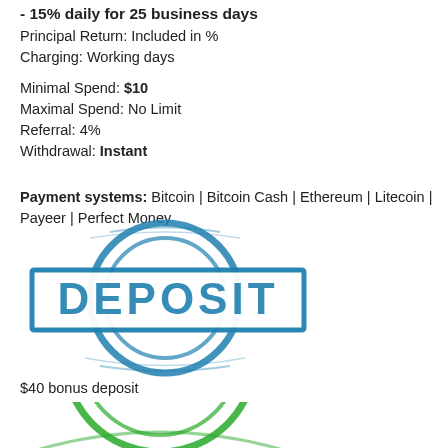- 15% daily for 25 business days
Principal Return: Included in %
Charging: Working days
Minimal Spend: $10
Maximal Spend: No Limit
Referral: 4%
Withdrawal: Instant
Payment systems: Bitcoin | Bitcoin Cash | Ethereum | Litecoin | Payeer | Perfect Money
[Figure (illustration): Blue rubber stamp circle with 'DEPOSIT' text in bold inside a rectangle]
$40 bonus deposit
[Figure (illustration): Green rubber stamp circle, partially visible at bottom of page]